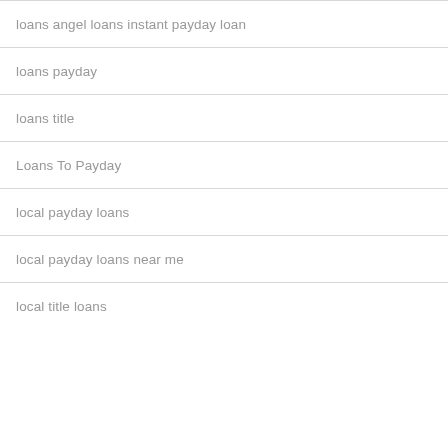loans angel loans instant payday loan
loans payday
loans title
Loans To Payday
local payday loans
local payday loans near me
local title loans